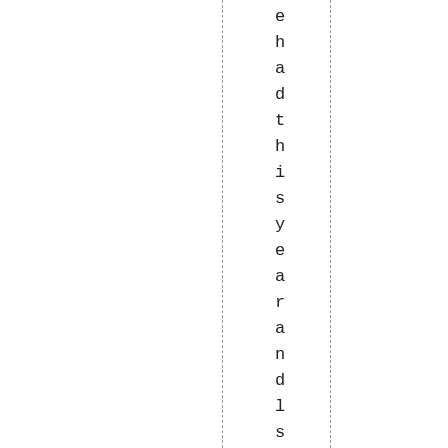e h a d t h i s y e a r a n d l s ti ll s t a n d b y e v e r